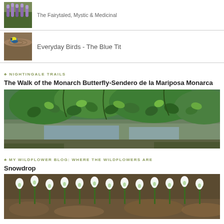[Figure (photo): Small thumbnail of lavender/purple wildflowers]
The Fairytaled, Mystic & Medicinal
[Figure (photo): Small thumbnail of a blue tit bird near a log]
Everyday Birds - The Blue Tit
♣ NIGHTINGALE TRAILS
The Walk of the Monarch Butterfly-Sendero de la Mariposa Monarca
[Figure (photo): Wide landscape photo of green tree leaves hanging over a reflective stream or pond]
♣ MY WILDFLOWER BLOG: WHERE THE WILDFLOWERS ARE
Snowdrop
[Figure (photo): Wide photo of snowdrop flowers growing in a cluster on the ground]